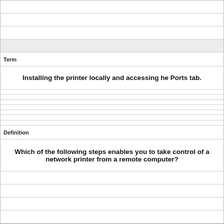Term
Installing the printer locally and accessing he Ports tab.
Definition
Which of the following steps enables you to take control of a network printer from a remote computer?